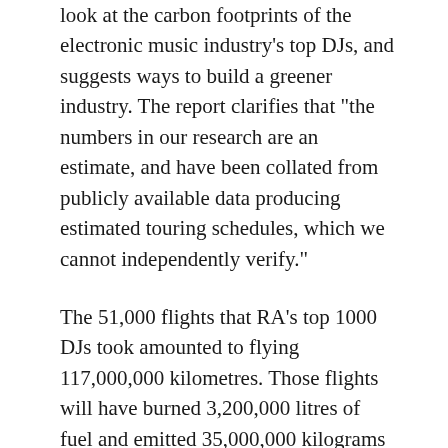look at the carbon footprints of the electronic music industry's top DJs, and suggests ways to build a greener industry. The report clarifies that "the numbers in our research are an estimate, and have been collated from publicly available data producing estimated touring schedules, which we cannot independently verify."
The 51,000 flights that RA's top 1000 DJs took amounted to flying 117,000,000 kilometres. Those flights will have burned 3,200,000 litres of fuel and emitted 35,000,000 kilograms of CO2 into the air, which the report says is the equivalent of the electricity used by 20,000 households in one year or the amount used to press 25 million records.
The report also indicates that there is a large disparity between the busiest and least-busy DJs in the 1000, with the ten most frequent travellers in the list having emitted as much carbon as the bottom 207. Using the RA data, Clean Scene has determined that the average artist's footprint was 35 tonnes of CO2, which is